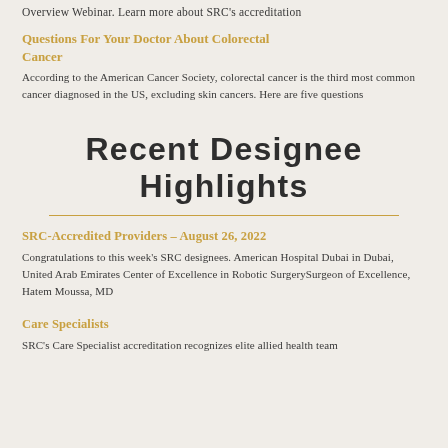Overview Webinar. Learn more about SRC's accreditation
Questions For Your Doctor About Colorectal Cancer
According to the American Cancer Society, colorectal cancer is the third most common cancer diagnosed in the US, excluding skin cancers. Here are five questions
Recent Designee Highlights
SRC-Accredited Providers – August 26, 2022
Congratulations to this week's SRC designees. American Hospital Dubai in Dubai, United Arab Emirates Center of Excellence in Robotic SurgerySurgeon of Excellence, Hatem Moussa, MD
Care Specialists
SRC's Care Specialist accreditation recognizes elite allied health team